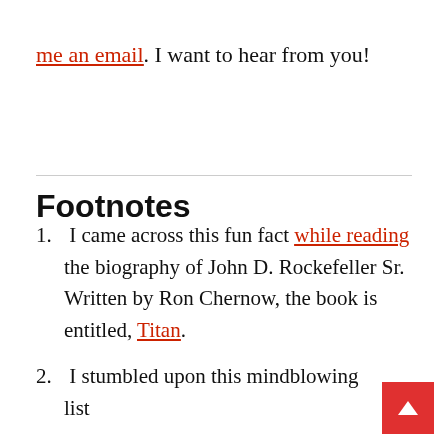me an email. I want to hear from you!
Footnotes
1. I came across this fun fact while reading the biography of John D. Rockefeller Sr. Written by Ron Chernow, the book is entitled, Titan.
2. I stumbled upon this mindblowing list